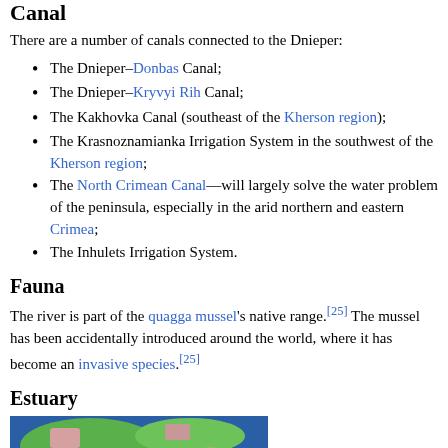Canal
There are a number of canals connected to the Dnieper:
The Dnieper–Donbas Canal;
The Dnieper–Kryvyi Rih Canal;
The Kakhovka Canal (southeast of the Kherson region);
The Krasnoznamianka Irrigation System in the southwest of the Kherson region;
The North Crimean Canal—will largely solve the water problem of the peninsula, especially in the arid northern and eastern Crimea;
The Inhulets Irrigation System.
Fauna
The river is part of the quagga mussel's native range.[25] The mussel has been accidentally introduced around the world, where it has become an invasive species.[25]
Estuary
[Figure (map): Partial satellite/map image of the Dnieper estuary area showing land use in various colors (green, blue, pink) near a river delta]